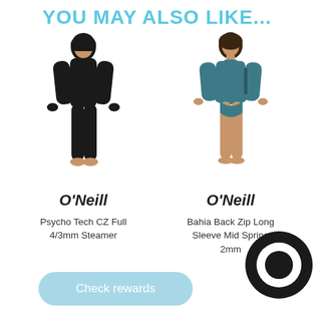YOU MAY ALSO LIKE...
[Figure (photo): Woman wearing a full black hooded wetsuit (O'Neill Psycho Tech CZ Full 4/3mm Steamer), standing front-facing]
[Figure (photo): Woman wearing a teal/blue short wetsuit top with bikini bottoms (O'Neill Bahia Back Zip Long Sleeve Mid Spring 2mm), standing front-facing]
O'Neill
O'Neill
Psycho Tech CZ Full 4/3mm Steamer
Bahia Back Zip Long Sleeve Mid Spring 2mm
Check rewards